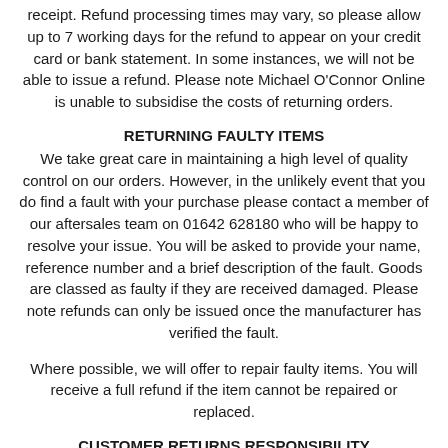receipt. Refund processing times may vary, so please allow up to 7 working days for the refund to appear on your credit card or bank statement. In some instances, we will not be able to issue a refund. Please note Michael O'Connor Online is unable to subsidise the costs of returning orders.
RETURNING FAULTY ITEMS
We take great care in maintaining a high level of quality control on our orders. However, in the unlikely event that you do find a fault with your purchase please contact a member of our aftersales team on 01642 628180 who will be happy to resolve your issue. You will be asked to provide your name, reference number and a brief description of the fault. Goods are classed as faulty if they are received damaged. Please note refunds can only be issued once the manufacturer has verified the fault.
Where possible, we will offer to repair faulty items. You will receive a full refund if the item cannot be repaired or replaced.
CUSTOMER RETURNS RESPONSIBILITY
Please be aware that you are responsible for the return of all items until we are in safe receipt.